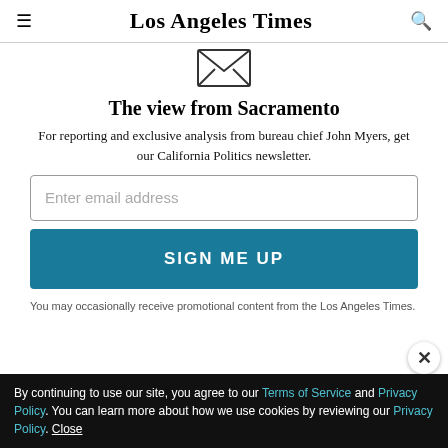Los Angeles Times
[Figure (illustration): Envelope icon at top center of newsletter sign-up widget]
The view from Sacramento
For reporting and exclusive analysis from bureau chief John Myers, get our California Politics newsletter.
Enter email address
SIGN ME UP
You may occasionally receive promotional content from the Los Angeles Times.
By continuing to use our site, you agree to our Terms of Service and Privacy Policy. You can learn more about how we use cookies by reviewing our Privacy Policy. Close